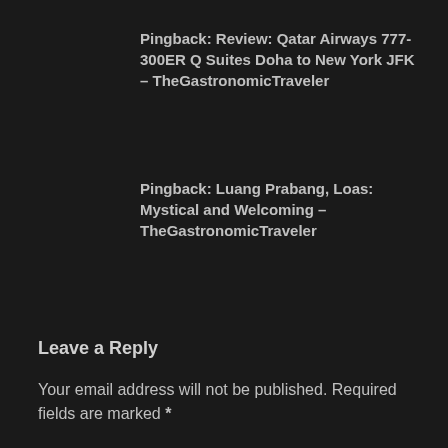Pingback: Review: Qatar Airways 777-300ER Q Suites Doha to New York JFK – TheGastronomicTraveler
Pingback: Luang Prabang, Loas: Mystical and Welcoming – TheGastronomicTraveler
Leave a Reply
Your email address will not be published. Required fields are marked *